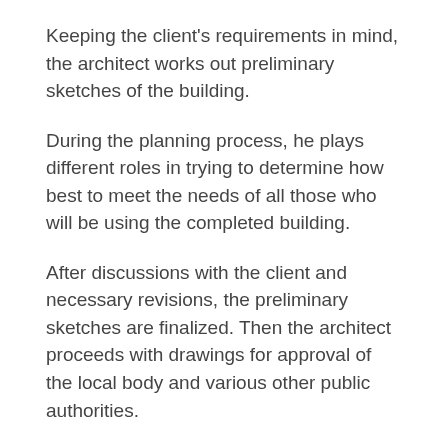Keeping the client's requirements in mind, the architect works out preliminary sketches of the building.
During the planning process, he plays different roles in trying to determine how best to meet the needs of all those who will be using the completed building.
After discussions with the client and necessary revisions, the preliminary sketches are finalized. Then the architect proceeds with drawings for approval of the local body and various other public authorities.
He prepares specifications, working drawings, and a detailed estimate for the work.
He also collaborates with the structural engineer, interior designer, electrical engineer, and other consultants, in